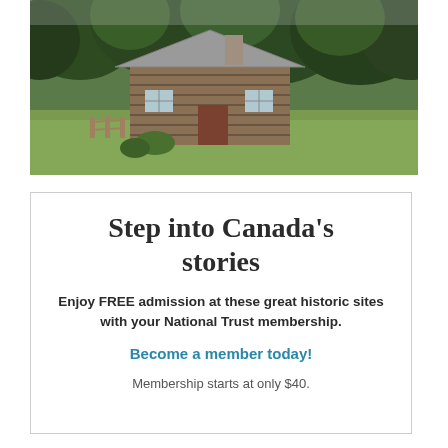[Figure (photo): A historic log cabin building set in a green field with trees in the background, photographed on an overcast day.]
Step into Canada's stories
Enjoy FREE admission at these great historic sites with your National Trust membership.
Become a member today!
Membership starts at only $40.